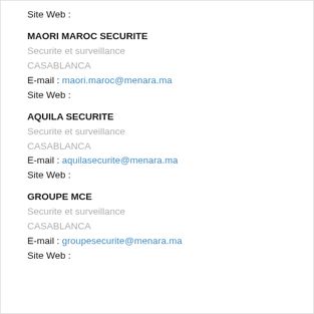Site Web :
MAORI MAROC SECURITE
Securite et surveillance
CASABLANCA
E-mail : maori.maroc@menara.ma
Site Web :
AQUILA SECURITE
Securite et surveillance
CASABLANCA
E-mail : aquilasecurite@menara.ma
Site Web :
GROUPE MCE
Securite et surveillance
CASABLANCA
E-mail : groupesecurite@menara.ma
Site Web :